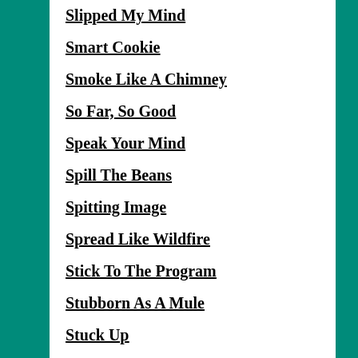Slipped My Mind
Smart Cookie
Smoke Like A Chimney
So Far, So Good
Speak Your Mind
Spill The Beans
Spitting Image
Spread Like Wildfire
Stick To The Program
Stubborn As A Mule
Stuck Up